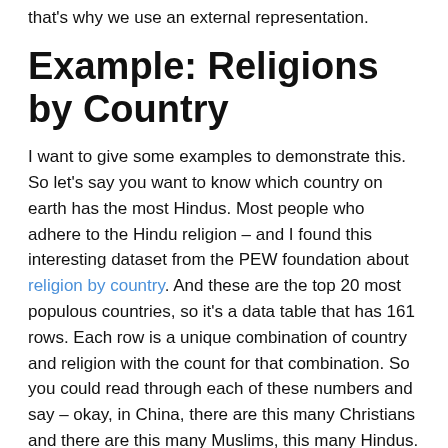that's why we use an external representation.
Example: Religions by Country
I want to give some examples to demonstrate this. So let's say you want to know which country on earth has the most Hindus. Most people who adhere to the Hindu religion – and I found this interesting dataset from the PEW foundation about religion by country. And these are the top 20 most populous countries, so it's a data table that has 161 rows. Each row is a unique combination of country and religion with the count for that combination. So you could read through each of these numbers and say – okay, in China, there are this many Christians and there are this many Muslims, this many Hindus. And you could read through the list and try to figure out which country has the most Hindus. And the point is, by looking at